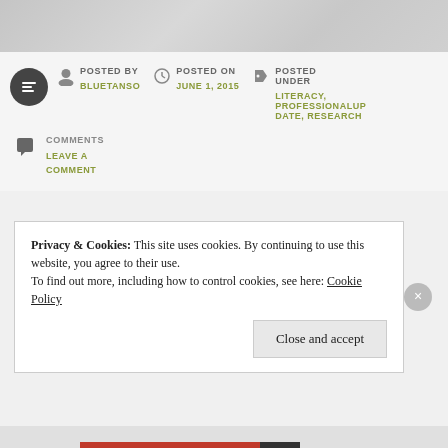[Figure (screenshot): Top decorative banner with gray gradient background]
POSTED BY BLUETANSO
POSTED ON JUNE 1, 2015
POSTED UNDER LITERACY, PROFESSIONALUPDATE, RESEARCH
COMMENTS LEAVE A COMMENT
Privacy & Cookies: This site uses cookies. By continuing to use this website, you agree to their use.
To find out more, including how to control cookies, see here: Cookie Policy
Close and accept